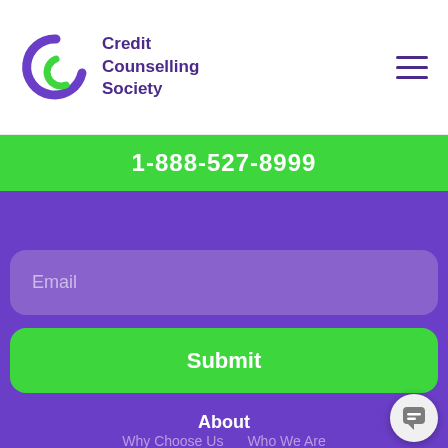Credit Counselling Society
1-888-527-8999
Email
Submit
About
Why Choose Us
Who We Are